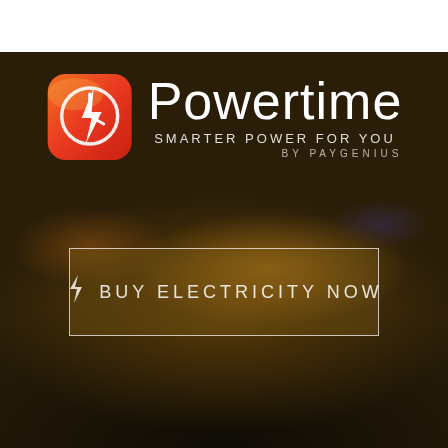[Figure (logo): Powertime app logo: a rounded-square icon with orange-to-red gradient and a white lightning bolt/clock graphic, beside the text 'Powertime' in white with taglines 'SMARTER POWER FOR YOU' and 'BY PAYGENIUS']
[Figure (illustration): Button with border: lightning bolt icon followed by text 'BUY ELECTRICITY NOW' in uppercase white letters on semi-transparent dark background]